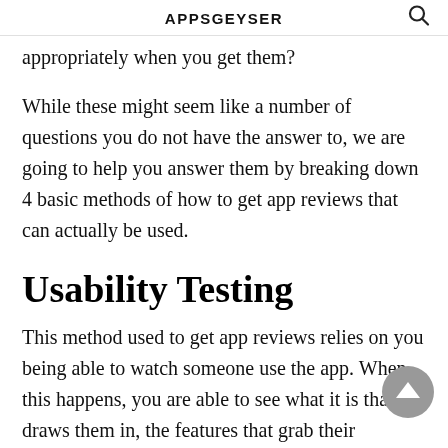APPSGEYSER
appropriately when you get them?
While these might seem like a number of questions you do not have the answer to, we are going to help you answer them by breaking down 4 basic methods of how to get app reviews that can actually be used.
Usability Testing
This method used to get app reviews relies on you being able to watch someone use the app. When this happens, you are able to see what it is that draws them in, the features that grab their attention and the section of the app's user interface that leaves their mind boggled. This